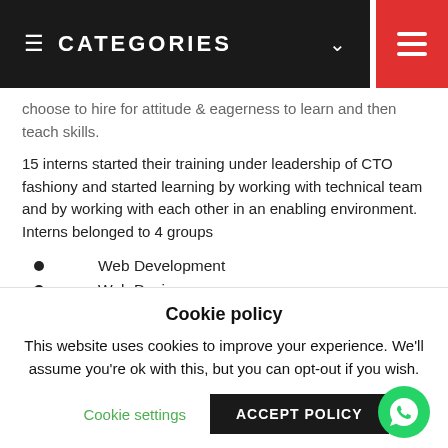CATEGORIES
choose to hire for attitude & eagerness to learn and then teach skills.
15 interns started their training under leadership of CTO fashiony and started learning by working with technical team and by working with each other in an enabling environment.  Interns belonged to 4 groups
Web Development
Web Design
CMS Development
Digital Marketing
Cookie policy
This website uses cookies to improve your experience. We'll assume you're ok with this, but you can opt-out if you wish.
Cookie settings   ACCEPT POLICY